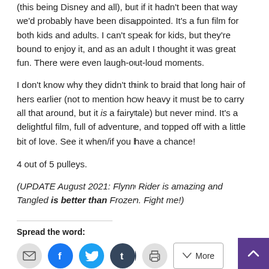(this being Disney and all), but if it hadn't been that way we'd probably have been disappointed. It's a fun film for both kids and adults. I can't speak for kids, but they're bound to enjoy it, and as an adult I thought it was great fun. There were even laugh-out-loud moments.
I don't know why they didn't think to braid that long hair of hers earlier (not to mention how heavy it must be to carry all that around, but it is a fairytale) but never mind. It's a delightful film, full of adventure, and topped off with a little bit of love. See it when/if you have a chance!
4 out of 5 pulleys.
(UPDATE August 2021: Flynn Rider is amazing and Tangled is better than Frozen. Fight me!)
Spread the word: